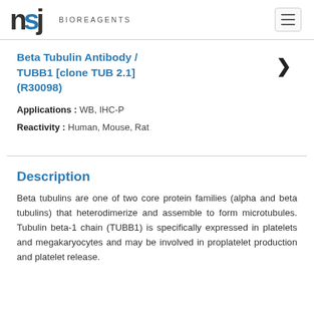NSJ BIOREAGENTS
Beta Tubulin Antibody / TUBB1 [clone TUB 2.1] (R30098)
Applications : WB, IHC-P
Reactivity : Human, Mouse, Rat
Description
Beta tubulins are one of two core protein families (alpha and beta tubulins) that heterodimerize and assemble to form microtubules. Tubulin beta-1 chain (TUBB1) is specifically expressed in platelets and megakaryocytes and may be involved in proplatelet production and platelet release.